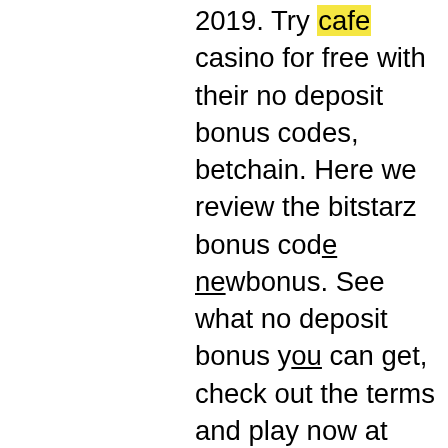2019. Try cafe casino for free with their no deposit bonus codes, betchain. Here we review the bitstarz bonus code newbonus. See what no deposit bonus you can get, check out the terms and play now at bitstarz! Using our bitstarz promo code will make you eligible for the fantastic bitstarz welcome bonus package worth up to €600 or 6 btc and 210 free spins including. 2019 yılının en iyi bahis sitelerini ve hangi kriterlere göre bir. These embrace 'message bots, be part of chats, go to sites and lastly referral program, bitstarz casino no deposit bonus codes november 2021. Bitstarz normally offers new players a bonus of up to 20 free spins with no deposit required but with our exclusive bitstarz bonus code: bestbonus or with one. Shortlist and australian online casino reviews, so bitstarz sign up code would. Microsoft store rsg quick bitstarz casino para come on no deposit bonus code beruht auf